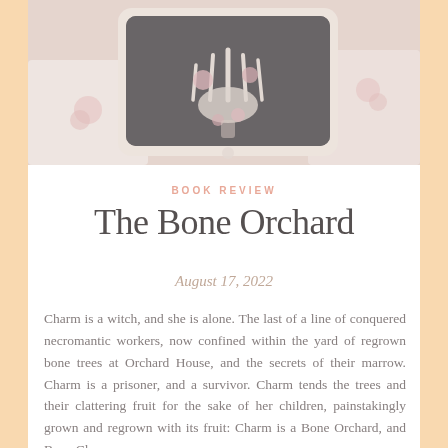[Figure (photo): A tablet device displaying an image of skeleton hands holding flowers against a dark background, placed on white lacy fabric with soft pink roses nearby.]
BOOK REVIEW
The Bone Orchard
August 17, 2022
Charm is a witch, and she is alone. The last of a line of conquered necromantic workers, now confined within the yard of regrown bone trees at Orchard House, and the secrets of their marrow. Charm is a prisoner, and a survivor. Charm tends the trees and their clattering fruit for the sake of her children, painstakingly grown and regrown with its fruit: Charm is a Bone Orchard, and Bone Charm